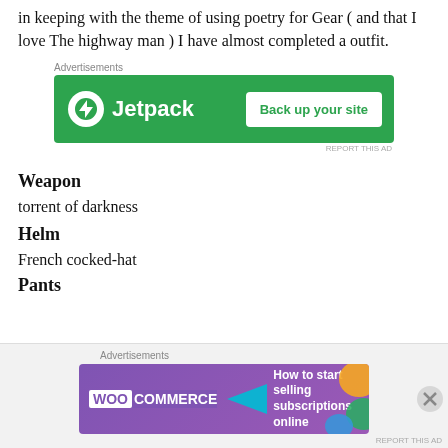in keeping with the theme of using poetry for Gear ( and that I love The highway man )  I have almost completed a outfit.
[Figure (other): Jetpack advertisement banner: green background with Jetpack logo on left and 'Back up your site' button on right]
Weapon
torrent of darkness
Helm
French cocked-hat
Pants
[Figure (other): WooCommerce advertisement banner: purple background with WooCommerce logo and text 'How to start selling subscriptions online', with colorful shapes on right side]